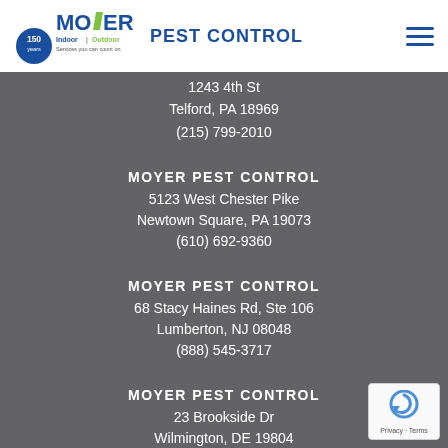[Figure (logo): Moyer Pest Control logo with '150 years' badge, Indoor|Outdoor tagline, and 'Services you can count on' text, alongside blue 'PEST CONTROL' heading]
1243 4th St
Telford, PA 18969
(215) 799-2010
MOYER PEST CONTROL
5123 West Chester Pike
Newtown Square, PA 19073
(610) 692-9360
MOYER PEST CONTROL
68 Stacy Haines Rd, Ste 106
Lumberton, NJ 08048
(888) 545-3717
MOYER PEST CONTROL
23 Brookside Dr
Wilmington, DE 19804
(302) 353-4404
[Figure (logo): reCAPTCHA badge with Google reCAPTCHA logo, Privacy and Terms links]